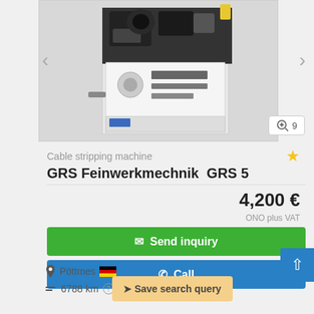[Figure (photo): Photo of a cable stripping machine (GRS Feinwerkmechnik GRS 5), shown from the front with industrial components visible. Navigation arrows on left and right. Zoom badge showing 9 photos.]
Cable stripping machine
GRS Feinwerkmechnik  GRS 5
4,200 €
ONO plus VAT
✉ Send inquiry
✆ Call
Pöttmes 🇩🇪
6788 km ❓
➤ Save search query